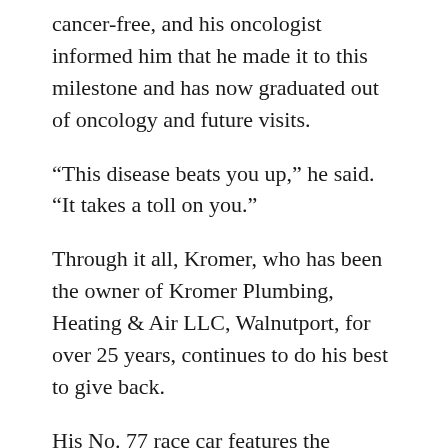cancer-free, and his oncologist informed him that he made it to this milestone and has now graduated out of oncology and future visits.
“This disease beats you up,” he said. “It takes a toll on you.”
Through it all, Kromer, who has been the owner of Kromer Plumbing, Heating & Air LLC, Walnutport, for over 25 years, continues to do his best to give back.
His No. 77 race car features the Lehigh Valley Cancer Institute logo.
Kromer and his wife, Kelly, decided they wanted